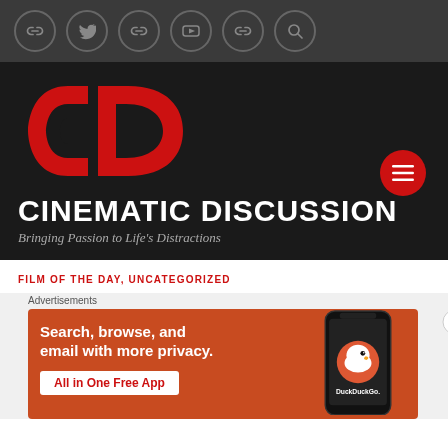[Figure (other): Social media icon bar with link, twitter, link, youtube, link, and search circle icons on dark gray background]
[Figure (logo): Cinematic Discussion logo: red CD monogram with interlocking C and D letterforms]
CINEMATIC DISCUSSION
Bringing Passion to Life's Distractions
FILM OF THE DAY, UNCATEGORIZED
[Figure (infographic): DuckDuckGo advertisement banner: orange background with text 'Search, browse, and email with more privacy. All in One Free App' alongside a smartphone showing DuckDuckGo logo]